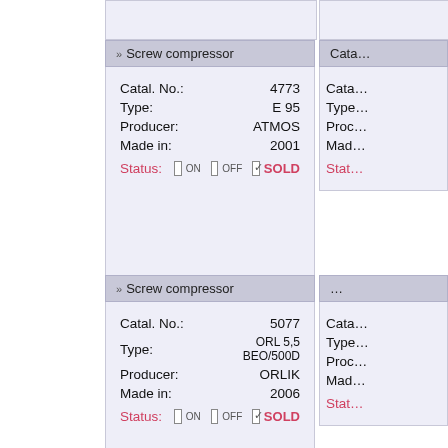▶▶ Screw compressor
| Field | Value |
| --- | --- |
| Catal. No.: | 4773 |
| Type: | E 95 |
| Producer: | ATMOS |
| Made in: | 2001 |
| Status: | SOLD |
▶▶ Screw compressor
| Field | Value |
| --- | --- |
| Catal. No.: | 5077 |
| Type: | ORL 5,5 BEO/500D |
| Producer: | ORLIK |
| Made in: | 2006 |
| Status: | SOLD |